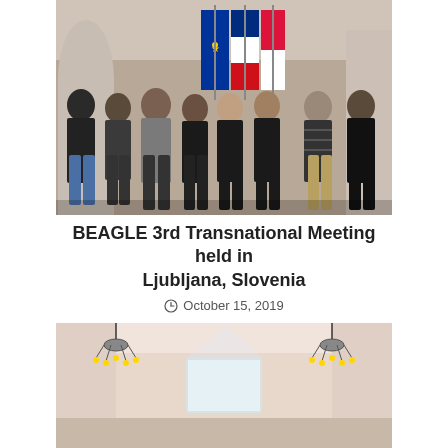[Figure (photo): Group photo of eight people standing in a room with flags (EU flag, Slovenian flag, and another flag) in the background. The group consists of men and women standing in a line against a white wall with an arched doorway.]
BEAGLE 3rd Transnational Meeting held in Ljubljana, Slovenia
October 15, 2019
[Figure (photo): Interior of a room with chandelier lights on both sides and what appears to be a presentation screen or board in the center background. The room has pink/salmon colored walls and a chandelier on each side.]